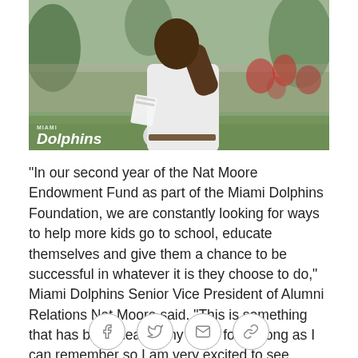[Figure (photo): A man in a white polo shirt at an outdoor event, holding papers, with the Miami Dolphins logo visible in the lower left corner of the photo.]
"In our second year of the Nat Moore Endowment Fund as part of the Miami Dolphins Foundation, we are constantly looking for ways to help more kids go to school, educate themselves and give them a chance to be successful in whatever it is they choose to do," Miami Dolphins Senior Vice President of Alumni Relations Nat Moore said. "This is something that has been near to my heart for as long as I can remember so I am very excited to see everyone come together for this event and raise funds that will give the youth of our